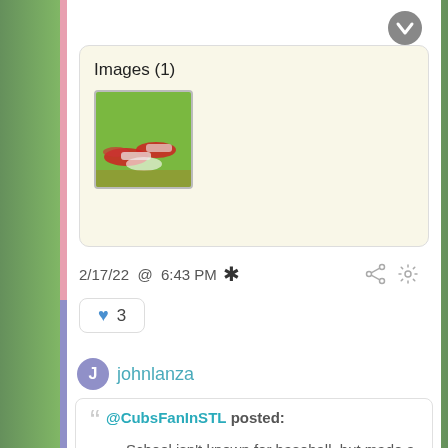[Figure (screenshot): Chevron/down-arrow button icon in gray circle]
Images (1)
[Figure (photo): Thumbnail photo of baseball players diving on green field]
2/17/22 @ 6:43 PM *
♥ 3
J johnlanza
@CubsFanInSTL posted: School isn't known for baseball, but made a run to the "elite 8" last year, losing to the eventual (and defending) champs on a little league trick play (pic